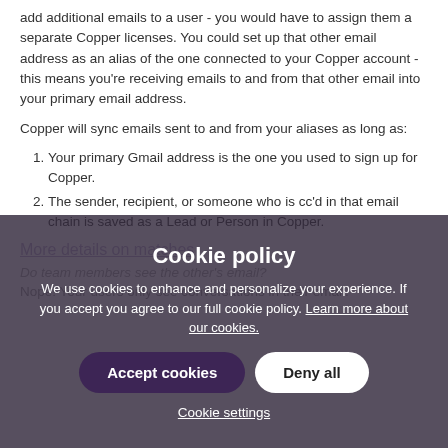add additional emails to a user - you would have to assign them a separate Copper licenses. You could set up that other email address as an alias of the one connected to your Copper account - this means you're receiving emails to and from that other email into your primary email address.
Copper will sync emails sent to and from your aliases as long as:
Your primary Gmail address is the one you used to sign up for Copper.
The sender, recipient, or someone who is cc'd in that email chain is saved as a Lead or Person in Copper.
More details on matches
Do team members see the other's email?
Nope! Your users only see conversations in their email.
[Figure (other): Cookie policy overlay with dark background. Title: 'Cookie policy'. Body: 'We use cookies to enhance and personalize your experience. If you accept you agree to our full cookie policy. Learn more about our cookies.' Two buttons: 'Accept cookies' (dark purple) and 'Deny all' (white). Link: 'Cookie settings'.]